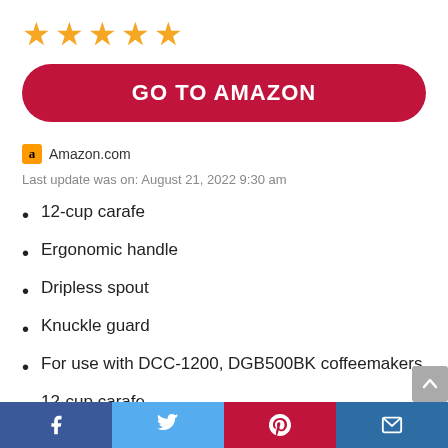[Figure (other): Five gold star rating icons]
[Figure (other): Red rounded button with white bold text 'GO TO AMAZON']
Amazon.com
Last update was on: August 21, 2022 9:30 am
12-cup carafe
Ergonomic handle
Dripless spout
Knuckle guard
For use with DCC-1200, DGB500BK coffeemakers
12-cup carafe
Facebook share | Twitter share | Pinterest share | Email share